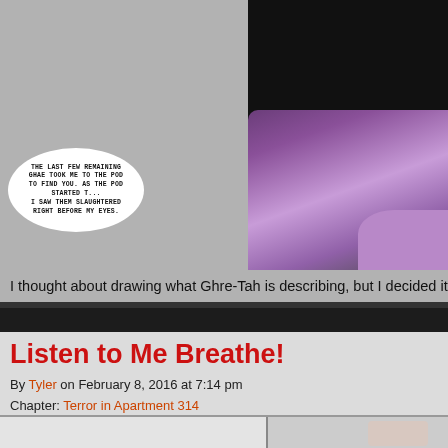[Figure (illustration): Comic page panel showing a gray background on the left half, and on the right a dark scene with a purple-clothed figure and a speech bubble reading: 'THE LAST FEW REMAINING GHAE TOOK ME TO THE POD TO FIND YOU. AS THE POD STARTED T... I SAW THEM SLAUGHTERED RIGHT BEFORE MY EYES.']
I thought about drawing what Ghre-Tah is describing, but I decided it w...
Listen to Me Breathe!
By Tyler on February 8, 2016 at 7:14 pm
Chapter: Terror in Apartment 314
Characters: Ghre-Tah, Gregor, Katie, Mr Carver
[Figure (illustration): Bottom preview strip showing partial comic panel on right side]